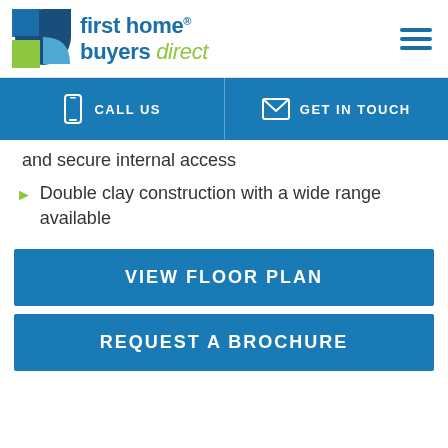first home buyers direct — logo and navigation header
and secure internal access
Double clay construction with a wide range available
VIEW FLOOR PLAN
REQUEST A BROCHURE